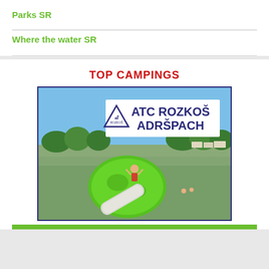Parks SR
Where the water SR
TOP CAMPINGS
[Figure (photo): Photo of ATC Rozkoš Adršpach camping at a lake with a large inflatable green water toy, people playing on it, trees and caravans in background. Overlay logo/text reads ATC ROZKOŠ ADRŠPACH with a triangle logo.]